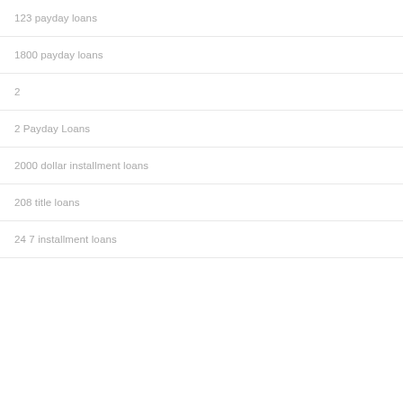123 payday loans
1800 payday loans
2
2 Payday Loans
2000 dollar installment loans
208 title loans
24 7 installment loans